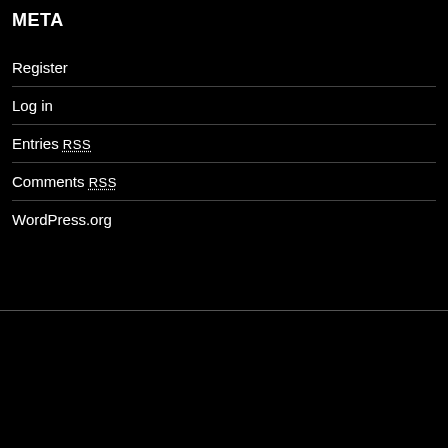META
Register
Log in
Entries RSS
Comments RSS
WordPress.org
[Figure (illustration): Tell It To Me Tuesdays banner image with house icon and text: Link up all your Family-Friendly content each Tuesday.]